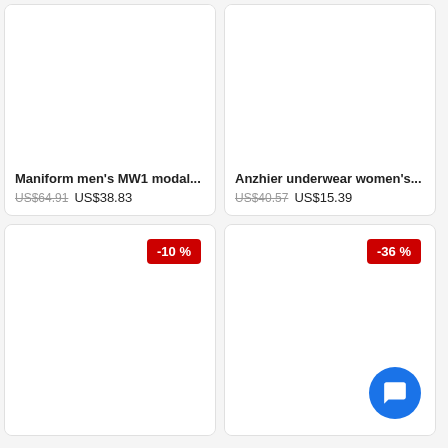[Figure (photo): Product card for Maniform men's MW1 modal underwear with original price US$64.91 and sale price US$38.83]
Maniform men's MW1 modal...
US$64.91 US$38.83
[Figure (photo): Product card for Anzhier underwear women's with original price US$40.57 and sale price US$15.39]
Anzhier underwear women's...
US$40.57 US$15.39
[Figure (photo): Product card with -10% discount badge, image area empty/white]
[Figure (photo): Product card with -36% discount badge and chat button, image area empty/white]